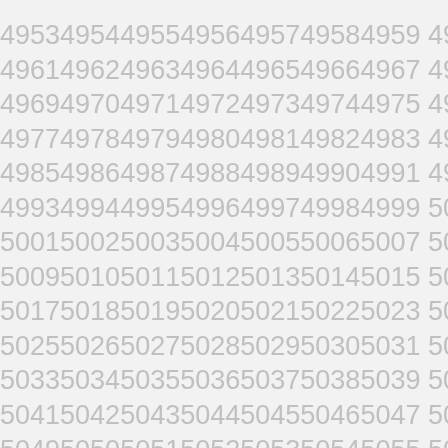4953495449554956495749584959 4960
4961496249634964496549664967 4968
4969497049714972497349744975 4976
4977497849794980498149824983 4984
4985498649874988498949904991 4992
4993499449954996499749984999 5000
5001500250035004500550065007 5008
5009501050115012501350145015 5016
5017501850195020502150225023 5024
5025502650275028502950305031 5032
5033503450355036503750385039 5040
5041504250435044504550465047 5048
5049505050515052505350545055 5056